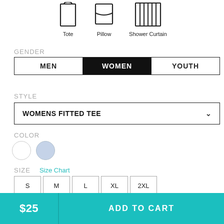[Figure (illustration): Three product icons: Tote bag outline, Pillow outline, Shower Curtain (vertical lines) with labels beneath each]
GENDER
MEN  WOMEN  YOUTH (gender selector buttons, WOMEN selected)
STYLE
WOMENS FITTED TEE (dropdown)
COLOR
[Figure (illustration): Two color swatches: white circle and light blue circle]
SIZE    Size Chart
S  M  L  XL  2XL (size selector buttons)
$25    ADD TO CART